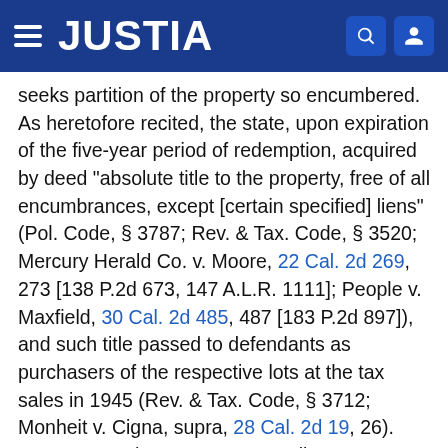JUSTIA
seeks partition of the property so encumbered. As heretofore recited, the state, upon expiration of the five-year period of redemption, acquired by deed "absolute title to the property, free of all encumbrances, except [certain specified] liens" (Pol. Code, § 3787; Rev. & Tax. Code, § 3520; Mercury Herald Co. v. Moore, 22 Cal. 2d 269, 273 [138 P.2d 673, 147 A.L.R. 1111]; People v. Maxfield, 30 Cal. 2d 485, 487 [183 P.2d 897]), and such title passed to defendants as purchasers of the respective lots at the tax sales in 1945 (Rev. & Tax. Code, § 3712; Monheit v. Cigna, supra, 28 Cal. 2d 19, 26). However, such separate proceedings, establishing defendants as "owners" of the property based on titles correlative with the respective tax liens, did [32 Cal. 2d 616] not ipso facto destroy plaintiff's rights flowing from its bond liens but, on the contrary, left them "intact" (Neary v. Peterson, supra, 1 Cal. 2d 703, 706) as premise